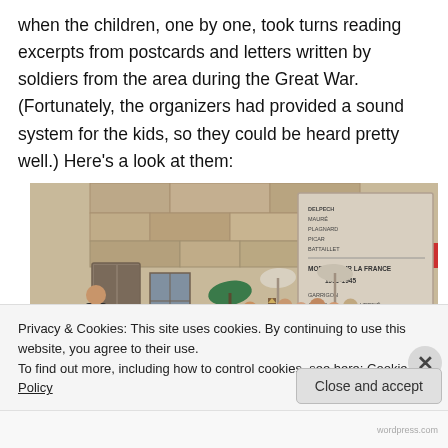when the children, one by one, took turns reading excerpts from postcards and letters written by soldiers from the area during the Great War. (Fortunately, the organizers had provided a sound system for the kids, so they could be heard pretty well.) Here's a look at them:
[Figure (photo): A group of children and adults gathered in front of a stone building next to a war memorial plaque reading 'MORTS POUR LA FRANCE 1939-1945'. Green umbrellas and umbrellas are visible in the background.]
Privacy & Cookies: This site uses cookies. By continuing to use this website, you agree to their use.
To find out more, including how to control cookies, see here: Cookie Policy
Close and accept